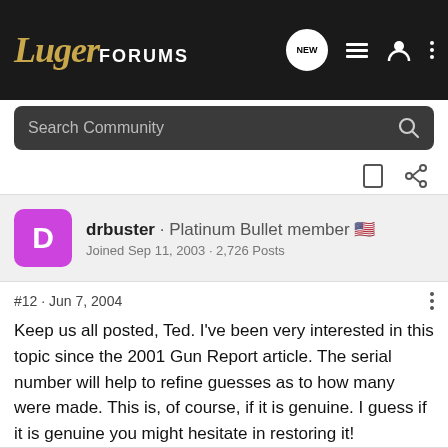Luger FORUMS
Search Community
drbuster · Platinum Bullet member 🇺🇸
Joined Sep 11, 2003 · 2,726 Posts
#12 · Jun 7, 2004
Keep us all posted, Ted. I've been very interested in this topic since the 2001 Gun Report article. The serial number will help to refine guesses as to how many were made. This is, of course, if it is genuine. I guess if it is genuine you might hesitate in restoring it!